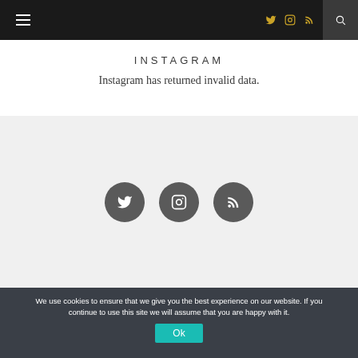Navigation bar with hamburger menu, Twitter, Instagram, RSS icons, and search
INSTAGRAM
Instagram has returned invalid data.
[Figure (other): Grey section with three circular social media icon buttons: Twitter, Instagram, RSS]
Made with ♥ in London
We use cookies to ensure that we give you the best experience on our website. If you continue to use this site we will assume that you are happy with it.